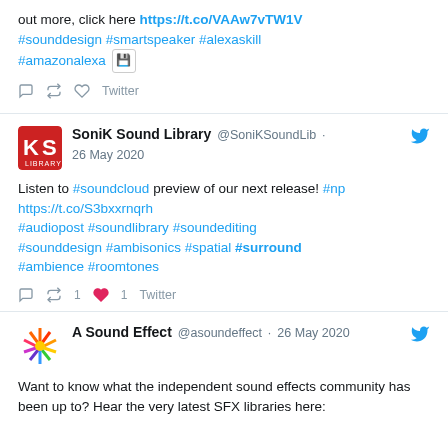out more, click here https://t.co/VAAw7vTW1V #sounddesign #smartspeaker #alexaskill #amazonalexa [icon]
Twitter (action bar)
SoniK Sound Library @SoniKSoundLib · 26 May 2020
Listen to #soundcloud preview of our next release! #np https://t.co/S3bxxrnqrh #audiopost #soundlibrary #soundediting #sounddesign #ambisonics #spatial #surround #ambience #roomtones
1 retweet, 1 like, Twitter
A Sound Effect @asoundeffect · 26 May 2020
Want to know what the independent sound effects community has been up to? Hear the very latest SFX libraries here: